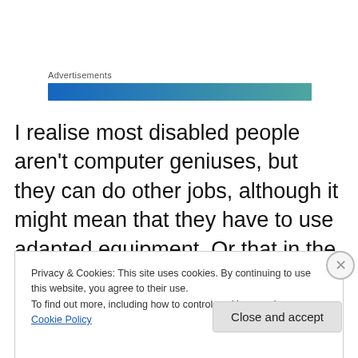Advertisements
[Figure (other): Advertisements banner bar with blue-to-teal gradient]
I realise most disabled people aren't computer geniuses, but they can do other jobs, although it might mean that they have to use adapted equipment. Or that in the case of those left brain damaged through head injury, they just take a little longer than everyone else. Unfortunately, I got the impression that the economics crisis caused by
Privacy & Cookies: This site uses cookies. By continuing to use this website, you agree to their use.
To find out more, including how to control cookies, see here: Cookie Policy
Close and accept